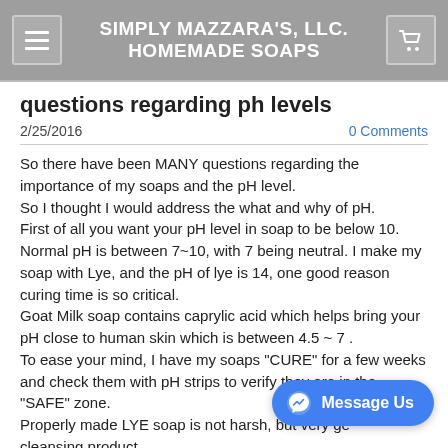SIMPLY MAZZARA'S, LLC. HOMEMADE SOAPS
questions regarding ph levels
2/25/2016
0 Comments
So there have been MANY questions regarding the importance of my soaps and the pH level.
So I thought I would address the what and why of pH.
First of all you want your pH level in soap to be below 10. Normal pH is between 7~10, with 7 being neutral. I make my soap with Lye, and the pH of lye is 14, one good reason curing time is so critical.
Goat Milk soap contains caprylic acid which helps bring your pH close to human skin which is between 4.5 ~ 7 .
To ease your mind, I have my soaps "CURE" for a few weeks and check them with pH strips to verify they are in the "SAFE" zone.
Properly made LYE soap is not harsh, but very ge... cleansing product.
In a properly formulated soap recipe you can "superfat" it ,, meaning